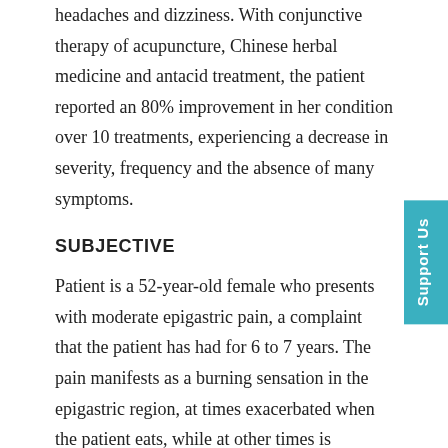headaches and dizziness. With conjunctive therapy of acupuncture, Chinese herbal medicine and antacid treatment, the patient reported an 80% improvement in her condition over 10 treatments, experiencing a decrease in severity, frequency and the absence of many symptoms.
SUBJECTIVE
Patient is a 52-year-old female who presents with moderate epigastric pain, a complaint that the patient has had for 6 to 7 years. The pain manifests as a burning sensation in the epigastric region, at times exacerbated when the patient eats, while at other times is relieved with food. Occasionally, the patient wakes in the night due to her gastric pain. She experiences acid reflux after eating, a decrease in appetite, belching and nausea both on empty stomach and after eating. The epigastric pain